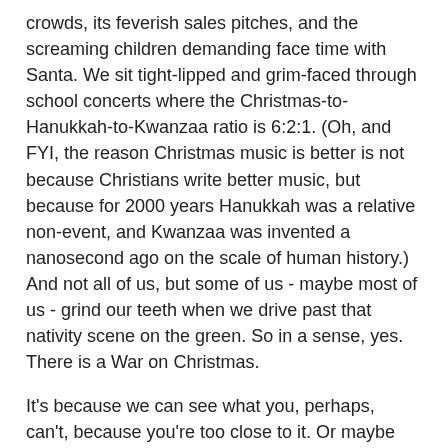crowds, its feverish sales pitches, and the screaming children demanding face time with Santa. We sit tight-lipped and grim-faced through school concerts where the Christmas-to-Hanukkah-to-Kwanzaa ratio is 6:2:1. (Oh, and FYI, the reason Christmas music is better is not because Christians write better music, but because for 2000 years Hanukkah was a relative non-event, and Kwanzaa was invented a nanosecond ago on the scale of human history.) And not all of us, but some of us - maybe most of us - grind our teeth when we drive past that nativity scene on the green. So in a sense, yes. There is a War on Christmas.
It's because we can see what you, perhaps, can't, because you're too close to it. Or maybe you can see it, but you're just not in a position to say so.
Christmas as celebrated in our culture is HIDEOUS. Aesthetically and morally HIDEOUS. And let's be honest - you know that, don't you? It's garish, loud, pushy, and irritatingly ubiquitous. Ninety-nine percent of the Christmassy stuff out there is inarguably unrelated to the religious meaning of the holiday, motivated instead by pure